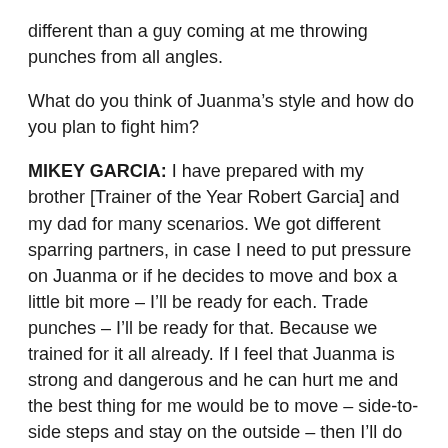different than a guy coming at me throwing punches from all angles.
What do you think of Juanma’s style and how do you plan to fight him?
MIKEY GARCIA: I have prepared with my brother [Trainer of the Year Robert Garcia] and my dad for many scenarios. We got different sparring partners, in case I need to put pressure on Juanma or if he decides to move and box a little bit more – I’ll be ready for each. Trade punches – I’ll be ready for that. Because we trained for it all already. If I feel that Juanma is strong and dangerous and he can hurt me and the best thing for me would be to move – side-to-side steps and stay on the outside – then I’ll do that. I’ll do whatever it takes to win. Because I am prepared for it.